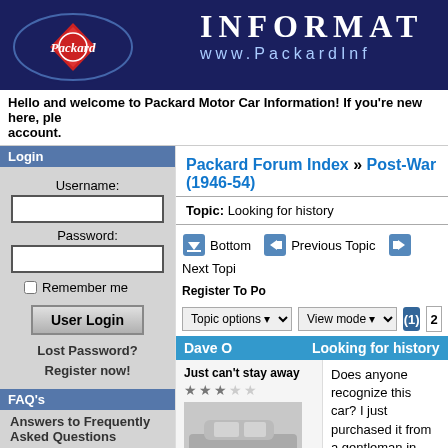[Figure (logo): Packard Motor Car Information website banner with Packard logo and website URL www.PackardInf]
Hello and welcome to Packard Motor Car Information! If you're new here, ple... account.
Login
Username:
Password:
Remember me
User Login
Lost Password?
Register now!
FAQ's
Answers to Frequently Asked Questions
Main Menu
Home
Forums
Packard Forum Index » Post-War (1946-54)
Topic: Looking for history
Bottom   Previous Topic   Next Topi...   Register To Po...
Topic options   View mode   (1)  2
Dave O   Looking for history
Just can't stay away
Does anyone recognize this car? I just purchased it from a gentleman in Wyoming did not have it very long. He bought it from a gentleman in